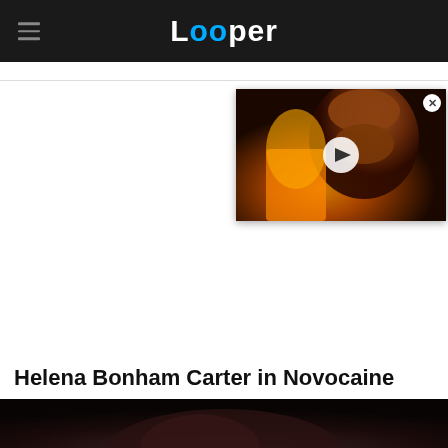Looper
[Figure (screenshot): Video thumbnail showing a bald man with fire in the background and a white play button overlay]
Helena Bonham Carter in Novocaine
[Figure (photo): Partial image at the bottom of a person with dark hair, dimly lit]